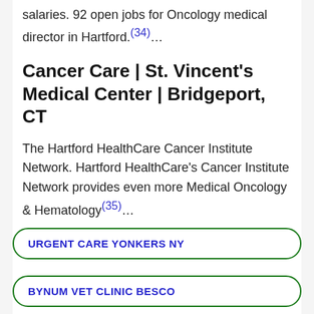salaries. 92 open jobs for Oncology medical director in Hartford.(34)…
Cancer Care | St. Vincent's Medical Center | Bridgeport, CT
The Hartford HealthCare Cancer Institute Network. Hartford HealthCare's Cancer Institute Network provides even more Medical Oncology & Hematology(35)…
URGENT CARE YONKERS NY
BYNUM VET CLINIC BESCO